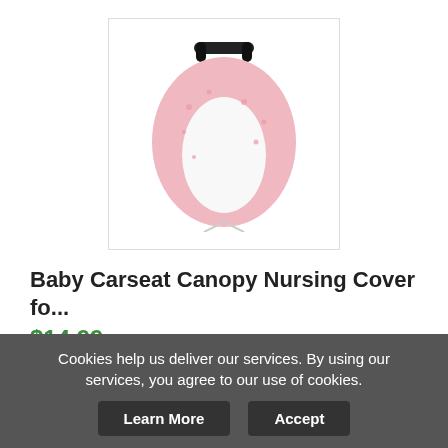[Figure (photo): Baby carseat canopy nursing cover in pink with white pattern, draped over a car seat handle]
Baby Carseat Canopy Nursing Cover fo...
$14.99
Buy Now | New | 22 Day(s) 8 h(s) | Worldwide | 2 days | Easy Returns
Buy Now
Cookies help us deliver our services. By using our services, you agree to our use of cookies.
Learn More
Accept